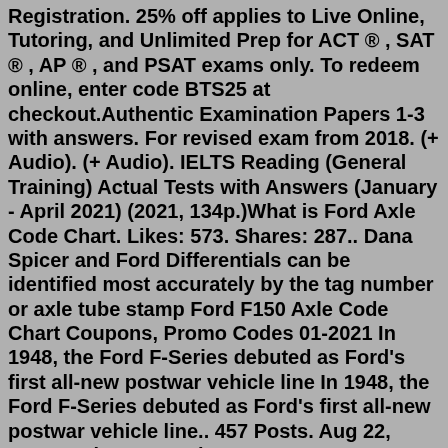Registration. 25% off applies to Live Online, Tutoring, and Unlimited Prep for ACT ® , SAT ® , AP ® , and PSAT exams only. To redeem online, enter code BTS25 at checkout.Authentic Examination Papers 1-3 with answers. For revised exam from 2018. (+ Audio). (+ Audio). IELTS Reading (General Training) Actual Tests with Answers (January - April 2021) (2021, 134p.)What is Ford Axle Code Chart. Likes: 573. Shares: 287.. Dana Spicer and Ford Differentials can be identified most accurately by the tag number or axle tube stamp Ford F150 Axle Code Chart Coupons, Promo Codes 01-2021 In 1948, the Ford F-Series debuted as Ford's first all-new postwar vehicle line In 1948, the Ford F-Series debuted as Ford's first all-new postwar vehicle line.. 457 Posts. Aug 22, 2022 · only you movie 2021. 2022. 7. 31. · Anal sex teen video free 2022.07.10. Teens Love Anal - Episodes - IMDb. Mariah Lee. "Last winter I was over at my friend's house and we were bored, so we decided to go in her hot tub. We went skinny-dipping since it was so cold outside and the hot tub was. Child